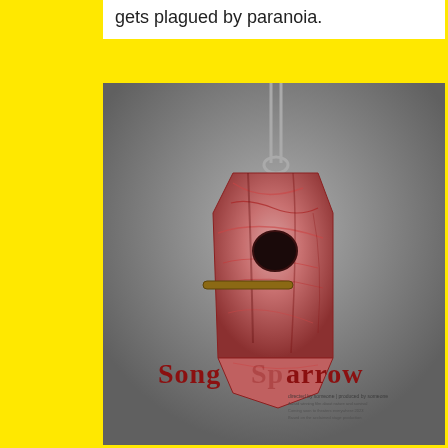gets plagued by paranoia.
[Figure (illustration): A movie poster for 'Song Sparrow' showing a birdhouse made of raw meat hanging from a hook, with a wooden perch. The title 'Song Sparrow' appears in dark red serif text across the lower portion of the image.]